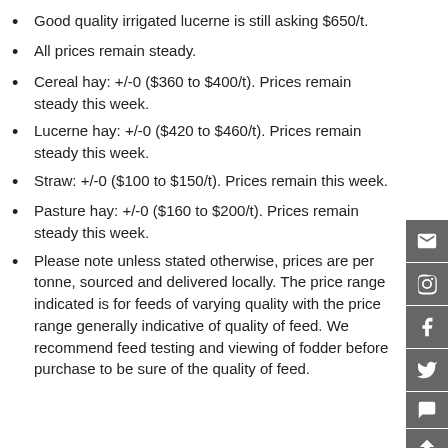Good quality irrigated lucerne is still asking $650/t.
All prices remain steady.
Cereal hay: +/-0 ($360 to $400/t). Prices remain steady this week.
Lucerne hay: +/-0 ($420 to $460/t). Prices remain steady this week.
Straw: +/-0 ($100 to $150/t). Prices remain this week.
Pasture hay: +/-0 ($160 to $200/t). Prices remain steady this week.
Please note unless stated otherwise, prices are per tonne, sourced and delivered locally. The price range indicated is for feeds of varying quality with the price range generally indicative of quality of feed. We recommend feed testing and viewing of fodder before purchase to be sure of the quality of feed.